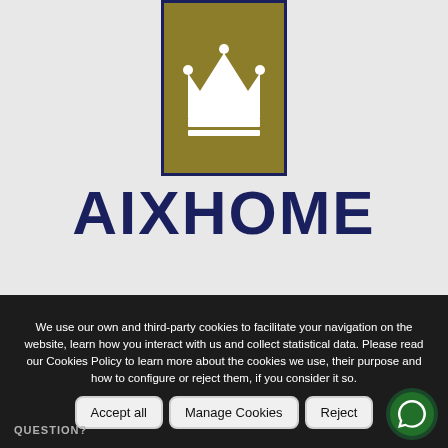[Figure (logo): AIXHOME logo with a white crown on a gold/olive square with dark navy blue border, and the text AIXHOME in large bold navy blue letters below]
Map
We use our own and third-party cookies to facilitate your navigation on the website, learn how you interact with us and collect statistical data. Please read our Cookies Policy to learn more about the cookies we use, their purpose and how to configure or reject them, if you consider it so.
Accept all
Manage Cookies
Reject
QUESTION?